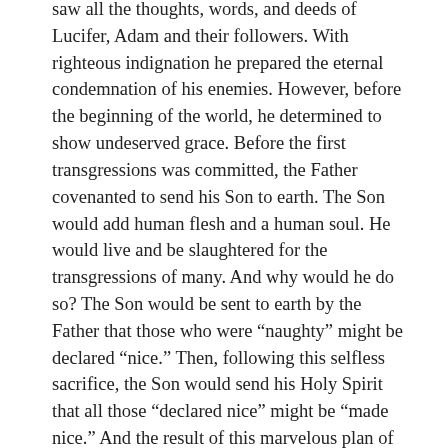saw all the thoughts, words, and deeds of Lucifer, Adam and their followers. With righteous indignation he prepared the eternal condemnation of his enemies. However, before the beginning of the world, he determined to show undeserved grace. Before the first transgressions was committed, the Father covenanted to send his Son to earth. The Son would add human flesh and a human soul. He would live and be slaughtered for the transgressions of many. And why would he do so? The Son would be sent to earth by the Father that those who were “naughty” might be declared “nice.” Then, following this selfless sacrifice, the Son would send his Holy Spirit that all those “declared nice” might be “made nice.” And the result of this marvelous plan of redemption was a holy and loving God who showed grace but remained immutably just as well.
Paul writes of this “nice” transaction to his Roman friends: